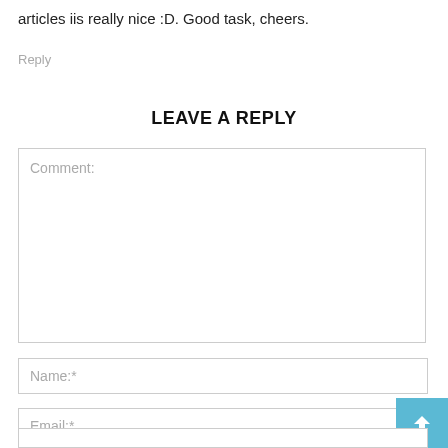articles iis really nice :D. Good task, cheers.
Reply
LEAVE A REPLY
Comment:
Name:*
Email:*
Website: